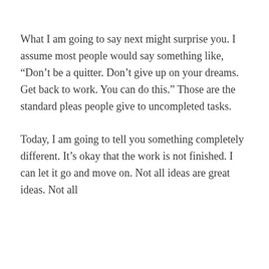What I am going to say next might surprise you. I assume most people would say something like, “Don’t be a quitter. Don’t give up on your dreams. Get back to work. You can do this.” Those are the standard pleas people give to uncompleted tasks.
Today, I am going to tell you something completely different. It’s okay that the work is not finished. I can let it go and move on. Not all ideas are great ideas. Not all
Privacy & Cookies: This site uses cookies. By continuing to use this website, you agree to their use.
To find out more, including how to control cookies, see here: Cookie Policy